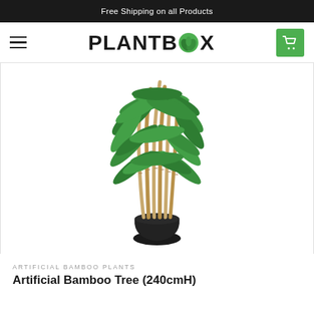Free Shipping on all Products
[Figure (logo): PLANTBOX logo with green leaf icon between letters B and X, hamburger menu icon on the left, and green cart button on the right]
[Figure (photo): Artificial bamboo tree with green leaves and natural bamboo stalks in a black pot on a white background]
ARTIFICIAL BAMBOO PLANTS
Artificial Bamboo Tree (240cmH)